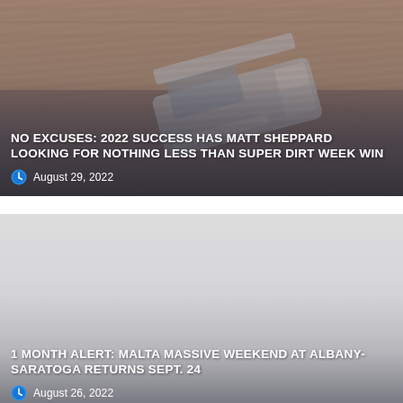[Figure (photo): Aerial/overhead photo of a dirt track racing car (modified) on a dirt oval track, with tan/brown dirt visible.]
NO EXCUSES: 2022 SUCCESS HAS MATT SHEPPARD LOOKING FOR NOTHING LESS THAN SUPER DIRT WEEK WIN
August 29, 2022
[Figure (photo): Light gray/foggy image, likely a race track or venue photo with low visibility.]
1 MONTH ALERT: MALTA MASSIVE WEEKEND AT ALBANY-SARATOGA RETURNS SEPT. 24
August 26, 2022